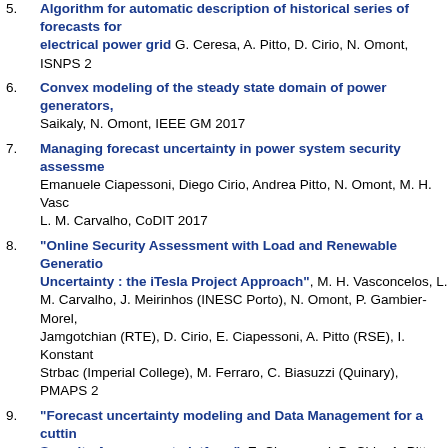5. Algorithm for automatic description of historical series of forecasts for electrical power grid G. Ceresa, A. Pitto, D. Cirio, N. Omont, ISNPS 2...
6. Convex modeling of the steady state domain of power generators, Saikaly, N. Omont, IEEE GM 2017
7. Managing forecast uncertainty in power system security assessment Emanuele Ciapessoni, Diego Cirio, Andrea Pitto, N. Omont, M. H. Vasco... L. M. Carvalho, CoDIT 2017
8. "Online Security Assessment with Load and Renewable Generation Uncertainty : the iTesla Project Approach", M. H. Vasconcelos, L. M. Carvalho, J. Meirinhos (INESC Porto), N. Omont, P. Gambier-Morel, Jamgotchian (RTE), D. Cirio, E. Ciapessoni, A. Pitto (RSE), I. Konstant... Strbac (Imperial College), M. Ferraro, C. Biasuzzi (Quinary), PMAPS 20...
9. "Forecast uncertainty modeling and Data Management for a cutting Security Assessment platform", E. Ciapessoni, D. Cirio, A. Pitto (RSE), Omont (RTE), PMAPS 2016
10. « Valutazione di sicurezza in linea del sistema elettrico considerando incertezze : l'approccio iTESLA », E. Ciapessoni, D. Cirio, A. Pitto, N... Clara Bagnasco, AEIT, 2016.
11. Couëtoux A., Teytaud O., Bonnard N., Omont N., Ratier O. : Monte Carlo Search appliqué à la gestion de stock, ROADEF 2011, Saint-Etienne...
12. Sinègre L., Flottes E., Omont N., Renaud A., André C., Making investment decision on the French main gas transmission network : relevant c...